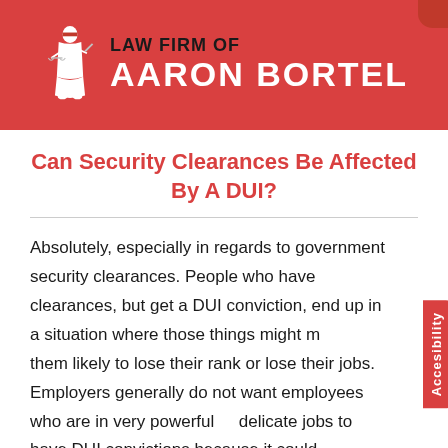[Figure (logo): Law Firm of Aaron Bortel logo with scales of justice figure on red background header]
Can Security Clearances Be Affected By A DUI?
Absolutely, especially in regards to government security clearances. People who have clearances, but get a DUI conviction, end up in a situation where those things might make them likely to lose their rank or lose their jobs. Employers generally do not want employees who are in very powerful or delicate jobs to have DUI convictions because it could compromise things and eventually lead to additional problems